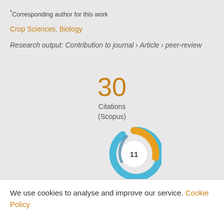*Corresponding author for this work
Crop Sciences, Biology
Research output: Contribution to journal › Article › peer-review
[Figure (other): Citation count: 30 Citations (Scopus)]
[Figure (donut-chart): Scopus/Altmetric donut badge showing score 11 with blue and gold arc segments]
We use cookies to analyse and improve our service. Cookie Policy